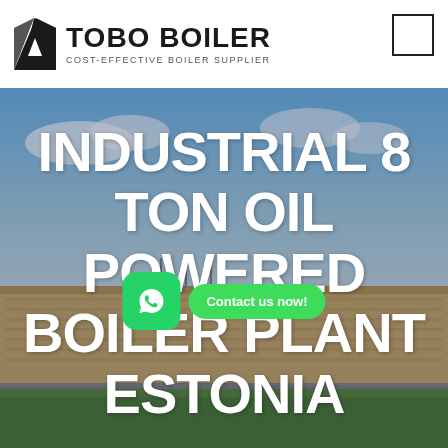[Figure (logo): TOBO BOILER logo with black geometric icon and text 'COST-EFFECTIVE BOILER SUPPLIER']
[Figure (photo): Industrial building / factory exterior with blue sky background, overlaid with large white bold text reading 'INDUSTRIAL 8 TON OIL POWERED BOILER PLANT ESTONIA', plus a WhatsApp button and 'Contact us now!' green CTA button]